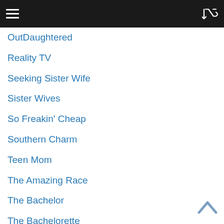Navigation header with menu and shuffle icons
OutDaughtered
Reality TV
Seeking Sister Wife
Sister Wives
So Freakin' Cheap
Southern Charm
Teen Mom
The Amazing Race
The Bachelor
The Bachelorette
The Blended Bunch
The Family Chantel
The Real Housewives Of Atlanta
The Real Housewives Of Beverly Hills